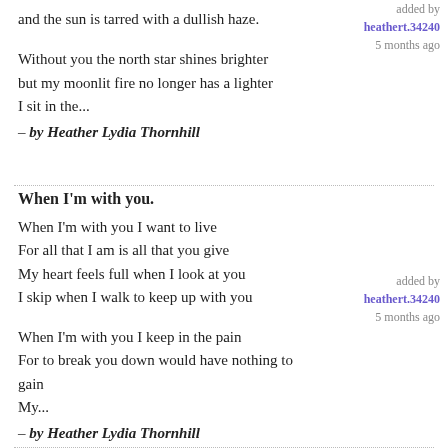and the sun is tarred with a dullish haze.
added by
heathert.34240
5 months ago
Without you the north star shines brighter
but my moonlit fire no longer has a lighter
I sit in the...
– by Heather Lydia Thornhill
When I'm with you.
When I'm with you I want to live
For all that I am is all that you give
My heart feels full when I look at you
I skip when I walk to keep up with you
added by
heathert.34240
5 months ago
When I'm with you I keep in the pain
For to break you down would have nothing to gain
My...
– by Heather Lydia Thornhill